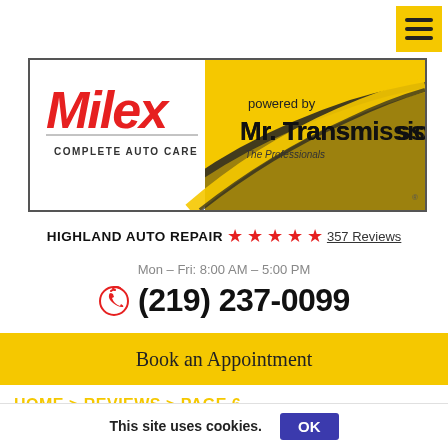[Figure (logo): Milex Complete Auto Care powered by Mr. Transmission logo on yellow banner background]
HIGHLAND AUTO REPAIR ★★★★★ 357 Reviews
Mon – Fri: 8:00 AM – 5:00 PM
(219) 237-0099
Book an Appointment
HOME > REVIEWS > PAGE 6
This site uses cookies. OK